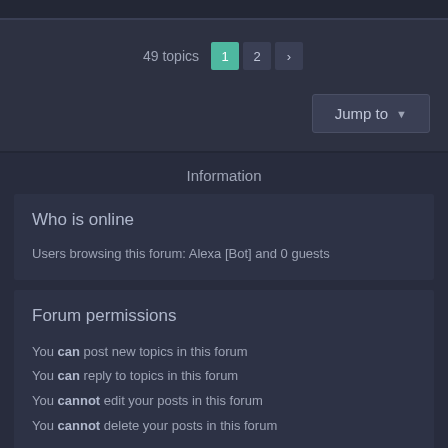49 topics 1 2 >
Jump to
Information
Who is online
Users browsing this forum: Alexa [Bot] and 0 guests
Forum permissions
You can post new topics in this forum
You can reply to topics in this forum
You cannot edit your posts in this forum
You cannot delete your posts in this forum